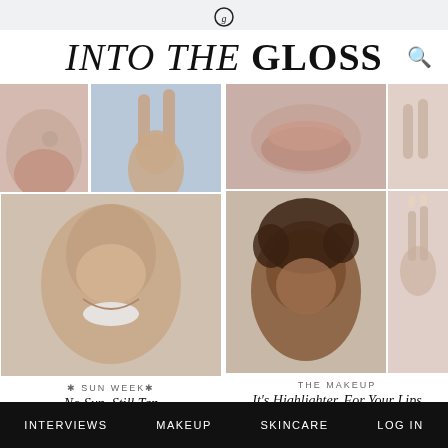Into The Gloss — logo icon
INTO THE GLOSS
[Figure (photo): Left article collage: close-up of woman's shoulder/neck with jewelry, woman raising arms against blue background, close-up of lips/chin, large photo of smiling woman with glowing skin]
* SUN WEEK*
No Sun, Still Tan
[Figure (photo): Right article collage: close-up of lips/skin texture, close-up of fingers/nails, woman with curly dark hair looking at camera, close-up of hand with nails]
THE MAKEUP
It's Highlighter, For Your Lips
Sponsored
INTERVIEWS   MAKEUP   SKINCARE   LOG IN